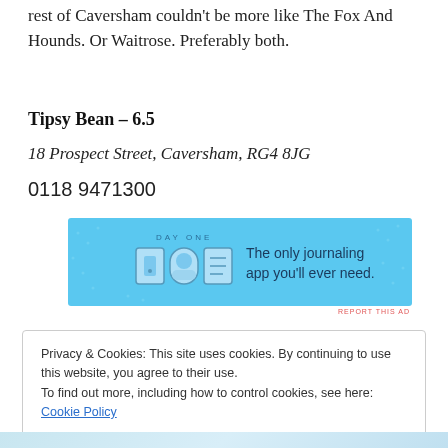rest of Caversham couldn't be more like The Fox And Hounds. Or Waitrose. Preferably both.
Tipsy Bean – 6.5
18 Prospect Street, Caversham, RG4 8JG
0118 9471300
[Figure (illustration): DAY ONE app advertisement banner with blue background, showing app icons and text 'The only journaling app you'll ever need.']
REPORT THIS AD
Privacy & Cookies: This site uses cookies. By continuing to use this website, you agree to their use.
To find out more, including how to control cookies, see here: Cookie Policy
Close and accept